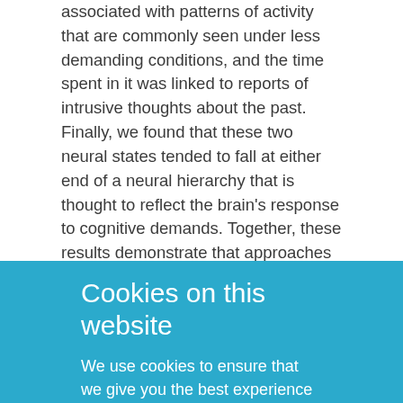associated with patterns of activity that are commonly seen under less demanding conditions, and the time spent in it was linked to reports of intrusive thoughts about the past. Finally, we found that these two neural states tended to fall at either end of a neural hierarchy that is thought to reflect the brain's response to cognitive demands. Together, these results demonstrate that approaches which take advantage of time-varying changes in neural function can play an important role in understanding the repertoire of self-generated states. Moreover, they establish that important features of self-generated ongoing experience are related to variation along a similar vein to those seen when the brain responds to
Cookies on this website
We use cookies to ensure that we give you the best experience on our website. If you click 'Accept all cookies' we'll assume that you are happy to receive all cookies and you won't see this message again. If you click 'Reject all non-essential cookies' only necessary cookies providing